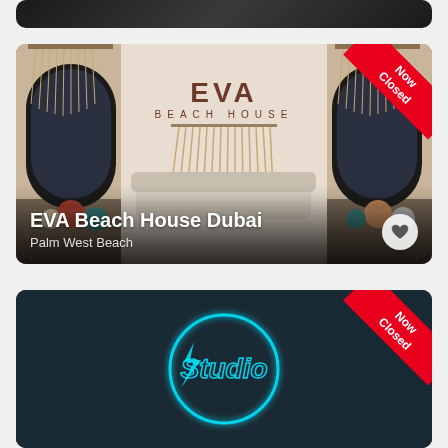[Figure (photo): Top partial card showing a dark restaurant/bar interior image, mostly cropped]
[Figure (photo): EVA Beach House Dubai venue card with bohemian beach house interior, macrame decorations, fringe chandeliers, 'Now Closed' ribbon in top-right corner. Venue name 'EVA Beach House Dubai' and location 'Palm West Beach' overlaid at bottom.]
EVA Beach House Dubai
Palm West Beach
[Figure (photo): Studio venue card with neon 'Studio' sign in a circle on dark background, 'Now Closed' ribbon in top-right corner]